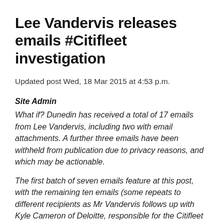Lee Vandervis releases emails #Citifleet investigation
Updated post Wed, 18 Mar 2015 at 4:53 p.m.
Site Admin
What if? Dunedin has received a total of 17 emails from Lee Vandervis, including two with email attachments. A further three emails have been withheld from publication due to privacy reasons, and which may be actionable.
The first batch of seven emails feature at this post, with the remaining ten emails (some repeats to different recipients as Mr Vandervis follows up with Kyle Cameron of Deloitte, responsible for the Citifleet investigation) to be added at Comments after being photographed and